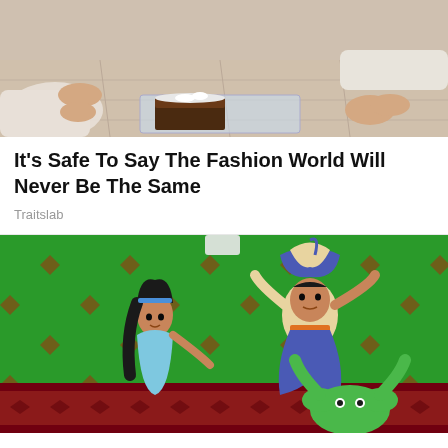[Figure (photo): Photo showing hands near a piece of chocolate cake on a floor, two people crouching down, one wearing a white long-sleeve shirt]
It's Safe To Say The Fashion World Will Never Be The Same
Traitslab
[Figure (illustration): Screenshot from Aladdin animated film showing Jasmine and Aladdin characters against a green screen background with a frog at the bottom]
He Can Show You The World All Right, But It's All Green